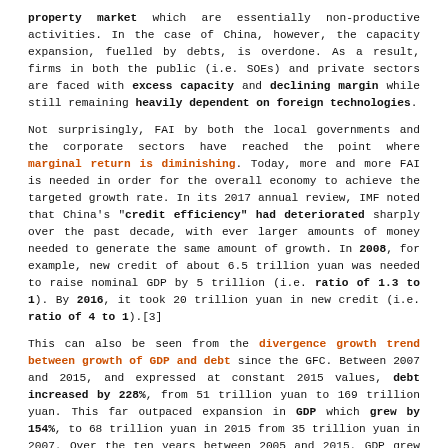property market which are essentially non-productive activities. In the case of China, however, the capacity expansion, fuelled by debts, is overdone. As a result, firms in both the public (i.e. SOEs) and private sectors are faced with excess capacity and declining margin while still remaining heavily dependent on foreign technologies.
Not surprisingly, FAI by both the local governments and the corporate sectors have reached the point where marginal return is diminishing. Today, more and more FAI is needed in order for the overall economy to achieve the targeted growth rate. In its 2017 annual review, IMF noted that China's "credit efficiency" had deteriorated sharply over the past decade, with ever larger amounts of money needed to generate the same amount of growth. In 2008, for example, new credit of about 6.5 trillion yuan was needed to raise nominal GDP by 5 trillion (i.e. ratio of 1.3 to 1). By 2016, it took 20 trillion yuan in new credit (i.e. ratio of 4 to 1).[3]
This can also be seen from the divergence growth trend between growth of GDP and debt since the GFC. Between 2007 and 2015, and expressed at constant 2015 values, debt increased by 228%, from 51 trillion yuan to 169 trillion yuan. This far outpaced expansion in GDP which grew by 154%, to 68 trillion yuan in 2015 from 35 trillion yuan in 2007. Over the ten years between 2005 and 2015, GDP grew at rates of between 9% and 14% annually but debt grew by between 17% and 35% of GDP each year, with the exception of 2009, when debt increased by 47% of GDP.[4]